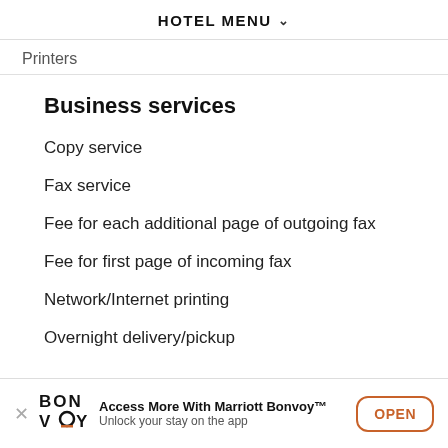HOTEL MENU
Printers
Business services
Copy service
Fax service
Fee for each additional page of outgoing fax
Fee for first page of incoming fax
Network/Internet printing
Overnight delivery/pickup
Access More With Marriott Bonvoy™ Unlock your stay on the app